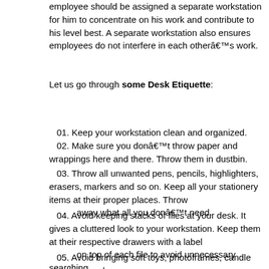employee should be assigned a separate workstation for him to concentrate on his work and contribute to his level best. A separate workstation also ensures employees do not interfere in each otherâ€™s work.
Let us go through some Desk Etiquette:
01. Keep your workstation clean and organized.
02. Make sure you donâ€™t throw paper and wrappings here and there. Throw them in dustbin.
03. Throw all unwanted pens, pencils, highlighters, erasers, markers and so on. Keep all your stationery items at their proper places. Throw away what all you donâ€™t need.
04. Avoid keeping stacks of files at your desk. It gives a cluttered look to your workstation. Keep them at their respective drawers with a label on top of each file to avoid unnecessary searching.
05. Avoid bringing soft toys, photoframes, candle stands to work.
06. The official phone should be used only for official purposes. Avoid long calls as your Boss might need you urgently.
07. Donâ€™t put posters of your favourite celebrities on the walls at the workplace. It is completely unprofessional and childish.
08. Keep a notepad and pen handy to jot down important contact numbers. Avoid writing on walls or loose paper.
09. Eating at the workstation attracts cockroaches and